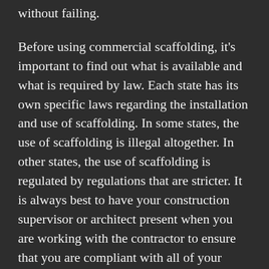without failing.
Before using commercial scaffolding, it's important to find out what is available and what is required by law. Each state has its own specific laws regarding the installation and use of scaffolding. In some states, the use of scaffolding is illegal altogether. In other states, the use of scaffolding is regulated by regulations that are stricter. It is always best to have your construction supervisor or architect present when you are working with the contractor to ensure that you are compliant with all of your state's laws.
In addition to the strict regulations pertaining to scaffolding use, there are many other considerations to keep in mind. If you are in an industrial setting, there are specific rules regarding the type of materials that are to be used in the construction or renovation of the site. As long as i ...